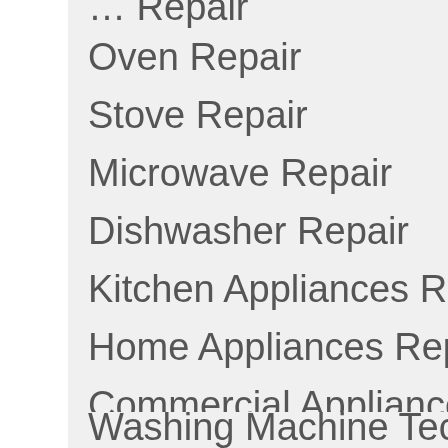Oven Repair
Stove Repair
Microwave Repair
Dishwasher Repair
Kitchen Appliances Repair
Home Appliances Repair
Commercial Appliance Repair
Heating & Air Conditioning Repair
Appliance Technician
Washing Machine Technician